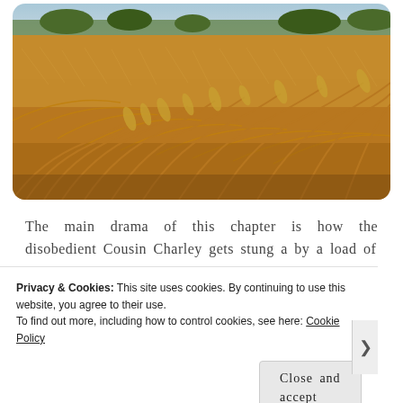[Figure (photo): A field of golden wheat grain crops blowing in the wind, photographed from a low angle. Blue sky with trees visible in the distant background.]
The main drama of this chapter is how the disobedient Cousin Charley gets stung a by a load of
Privacy & Cookies: This site uses cookies. By continuing to use this website, you agree to their use.
To find out more, including how to control cookies, see here: Cookie Policy
Close and accept